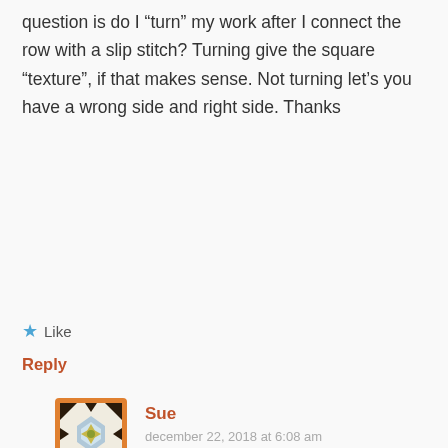question is do I “turn” my work after I connect the row with a slip stitch? Turning give the square “texture”, if that makes sense. Not turning let’s you have a wrong side and right side. Thanks
★ Like
Reply
Sue
december 22, 2018 at 6:08 am
I do the same as granny squares, no turning. But it is your crochet work, so you could try that if you want.
★ Like